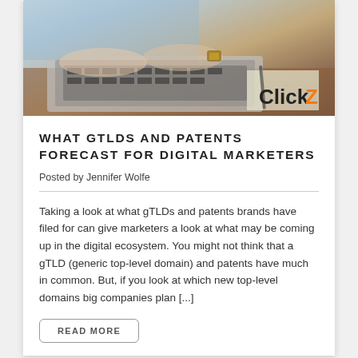[Figure (photo): Person typing on a laptop keyboard, viewed from above at an angle, with a ClickZ logo watermark in the lower-right corner of the image.]
WHAT GTLDS AND PATENTS FORECAST FOR DIGITAL MARKETERS
Posted by Jennifer Wolfe
Taking a look at what gTLDs and patents brands have filed for can give marketers a look at what may be coming up in the digital ecosystem. You might not think that a gTLD (generic top-level domain) and patents have much in common. But, if you look at which new top-level domains big companies plan [...]
READ MORE